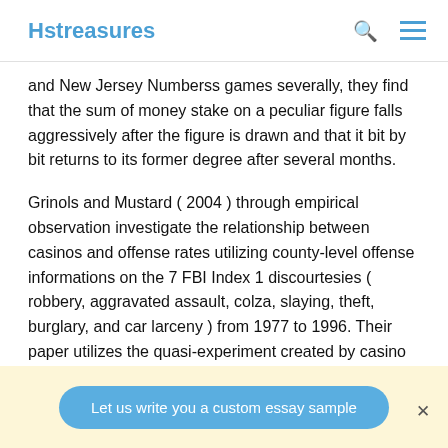Hstreasures
and New Jersey Numberss games severally, they find that the sum of money stake on a peculiar figure falls aggressively after the figure is drawn and that it bit by bit returns to its former degree after several months.
Grinols and Mustard ( 2004 ) through empirical observation investigate the relationship between casinos and offense rates utilizing county-level offense informations on the 7 FBI Index 1 discourtesies ( robbery, aggravated assault, colza, slaying, theft, burglary, and car larceny ) from 1977 to 1996. Their paper utilizes the quasi-experiment created by casino gaps to place a causal
Let us write you a custom essay sample